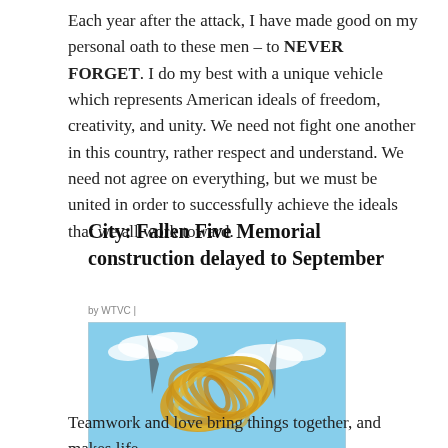Each year after the attack, I have made good on my personal oath to these men – to NEVER FORGET. I do my best with a unique vehicle which represents American ideals of freedom, creativity, and unity. We need not fight one another in this country, rather respect and understand. We need not agree on everything, but we must be united in order to successfully achieve the ideals that we all work toward.
City: Fallen Five Memorial construction delayed to September
by WTVC |
[Figure (photo): Photo of a golden/yellow metallic sculptural artwork with curved ribbon-like strips forming a spiral or swirl shape, photographed against a blue sky with clouds.]
Teamwork and love bring things together, and makes life